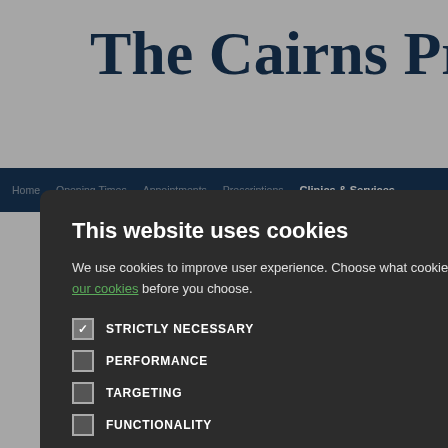The Cairns Practice
Home  Opening Times  Appointments  Prescriptions  Clinics & Services
Healthcare Team
red nurse who has re...  hen. Danielle's role is  around the general a
This website uses cookies

We use cookies to improve user experience. Choose what cookies you allow us to use. You can read more about our cookies before you choose.

STRICTLY NECESSARY
PERFORMANCE
TARGETING
FUNCTIONALITY

ACCEPT ALL  DECLINE ALL